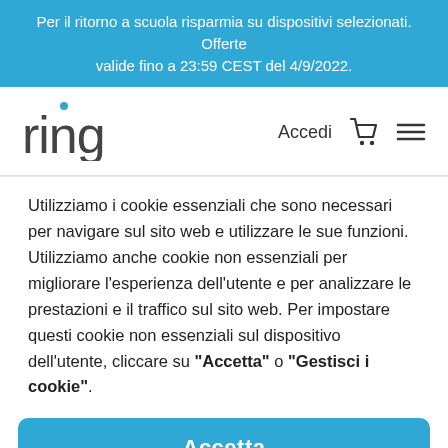Per il ritorno a scuola risparmia su dispositivi selezionati. Offerte valide fino a 23:59 CEST del 4/9/2022.
[Figure (logo): Ring logo with blue dot above the letter i]
Accedi
Utilizziamo i cookie essenziali che sono necessari per navigare sul sito web e utilizzare le sue funzioni. Utilizziamo anche cookie non essenziali per migliorare l'esperienza dell'utente e per analizzare le prestazioni e il traffico sul sito web. Per impostare questi cookie non essenziali sul dispositivo dell'utente, cliccare su "Accetta" o "Gestisci i cookie".
Accetta
Gestisci i cookie